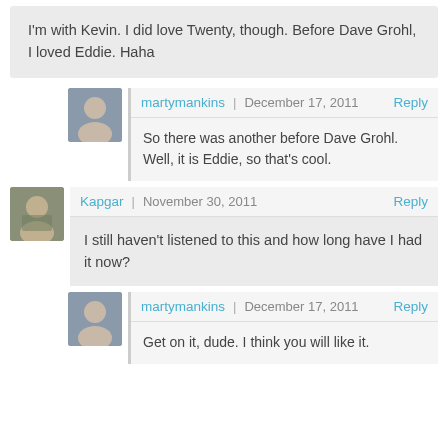I'm with Kevin. I did love Twenty, though. Before Dave Grohl, I loved Eddie. Haha
martymankins | December 17, 2011 Reply
So there was another before Dave Grohl. Well, it is Eddie, so that's cool.
Kapgar | November 30, 2011 Reply
I still haven't listened to this and how long have I had it now?
martymankins | December 17, 2011 Reply
Get on it, dude. I think you will like it.